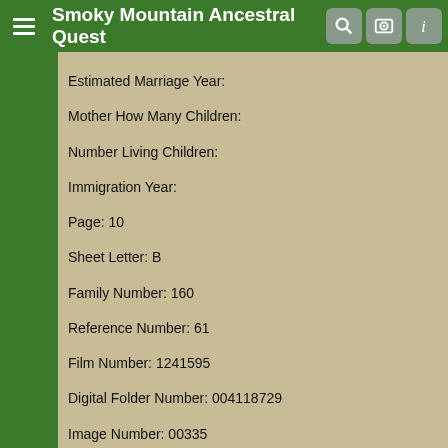Smoky Mountain Ancestral Quest
Estimated Marriage Year:
Mother How Many Children:
Number Living Children:
Immigration Year:
Page: 10
Sheet Letter: B
Family Number: 160
Reference Number: 61
Film Number: 1241595
Digital Folder Number: 004118729
Image Number: 00335
Household Gender Age Birthplace
Head Ben Shelton M 39 Tennessee
Wife July Shelton F 37 Tennessee
Son William Shelton M 13 Tennessee
Son John Shelton M 11 Tennessee
Daughter Margaret Shelton F 8 Tennessee
Daughter Sarrah J Shelton F 7 Tennessee
Daughter Dicie C Shelton F 5 Tennessee
Daughter Dora A Shelton F 3 Tennessee
4. [S52] Miller Funeral Home, (http://www.millerfuneralhome.org), 6 Mar 1955. Dunlap, Dora Ann 10-11-1897 3-6-1955 Ben Shelton Julia Thomas Forest Hill
5. [S87] Death Certificate. Name: Dora Ann Dunlap Event: Death Event Date: 06 Mar 1955